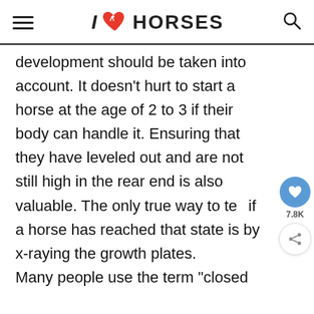I ♥ HORSES
development should be taken into account. It doesn't hurt to start a horse at the age of 2 to 3 if their body can handle it. Ensuring that they have leveled out and are not still high in the rear end is also valuable. The only true way to tell if a horse has reached that state is by x-raying the growth plates. Many people use the term "closed..."